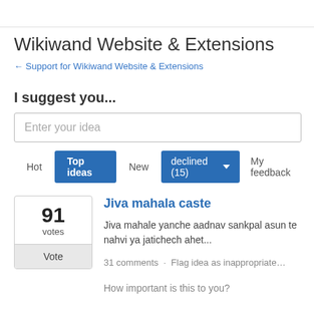Wikiwand Website & Extensions
← Support for Wikiwand Website & Extensions
I suggest you...
[Figure (screenshot): Text input field with placeholder 'Enter your idea']
Hot  Top ideas  New  declined (15) ▾  My feedback
91 votes Vote
Jiva mahala caste
Jiva mahale yanche aadnav sankpal asun te nahvi ya jatichech ahet...
31 comments · Flag idea as inappropriate…
How important is this to you?